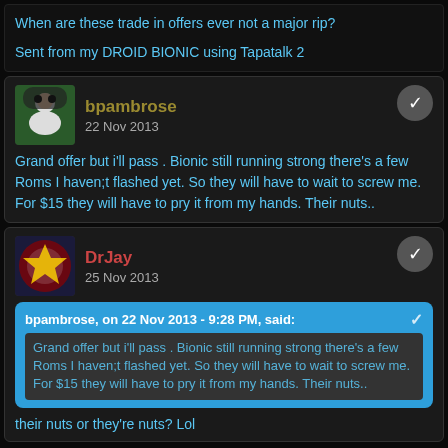When are these trade in offers ever not a major rip?
Sent from my DROID BIONIC using Tapatalk 2
bpambrose
22 Nov 2013
Grand offer but i'll pass . Bionic still running strong there's a few Roms I haven;t flashed yet. So they will have to wait to screw me. For $15 they will have to pry it from my hands. Their nuts..
DrJay
25 Nov 2013
bpambrose, on 22 Nov 2013 - 9:28 PM, said:
Grand offer but i'll pass . Bionic still running strong there's a few Roms I haven;t flashed yet. So they will have to wait to screw me. For $15 they will have to pry it from my hands. Their nuts..
their nuts or they're nuts? Lol